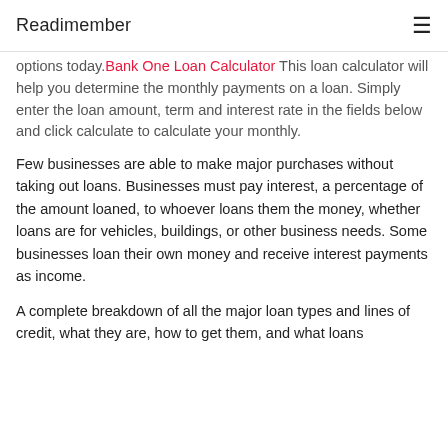Readimember
options today. Bank One Loan Calculator This loan calculator will help you determine the monthly payments on a loan. Simply enter the loan amount, term and interest rate in the fields below and click calculate to calculate your monthly.
Few businesses are able to make major purchases without taking out loans. Businesses must pay interest, a percentage of the amount loaned, to whoever loans them the money, whether loans are for vehicles, buildings, or other business needs. Some businesses loan their own money and receive interest payments as income.
A complete breakdown of all the major loan types and lines of credit, what they are, how to get them, and what loans